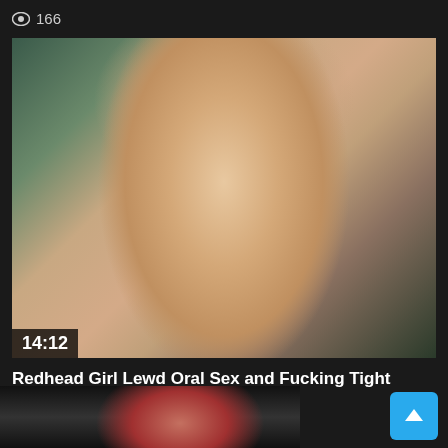166
[Figure (photo): Video thumbnail showing adult content, duration badge showing 14:12]
Redhead Girl Lewd Oral Sex and Fucking Tight Pussy Pov Closeup
118
[Figure (photo): Partial thumbnail of next video showing redhead girl]